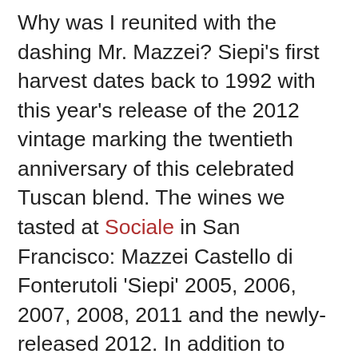Why was I reunited with the dashing Mr. Mazzei? Siepi's first harvest dates back to 1992 with this year's release of the 2012 vintage marking the twentieth anniversary of this celebrated Tuscan blend. The wines we tasted at Sociale in San Francisco: Mazzei Castello di Fonterutoli 'Siepi' 2005, 2006, 2007, 2008, 2011 and the newly-released 2012. In addition to celebrating Siepi we tasted the Belguardo Rosé, Castello di Fonterutoli: Chianti Classico Gran Selezione, Mix 36 (a blend of 36 different biotypes of Sangiovese), and